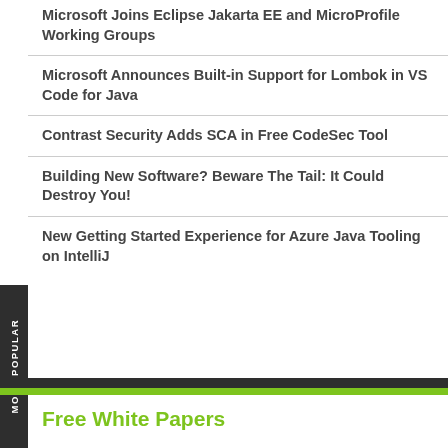Microsoft Joins Eclipse Jakarta EE and MicroProfile Working Groups
Microsoft Announces Built-in Support for Lombok in VS Code for Java
Contrast Security Adds SCA in Free CodeSec Tool
Building New Software? Beware The Tail: It Could Destroy You!
New Getting Started Experience for Azure Java Tooling on IntelliJ
Free White Papers
Easily Scale Your Apps and Data Services